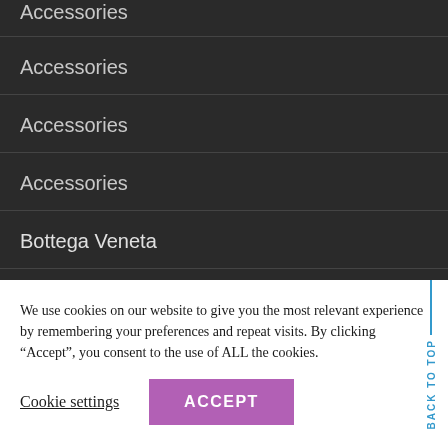Accessories
Accessories
Accessories
Accessories
Bottega Veneta
BURBERRY
We use cookies on our website to give you the most relevant experience by remembering your preferences and repeat visits. By clicking “Accept”, you consent to the use of ALL the cookies.
Cookie settings
ACCEPT